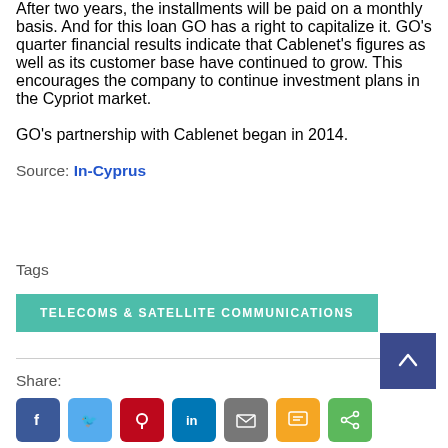After two years, the installments will be paid on a monthly basis. And for this loan GO has a right to capitalize it. GO's quarter financial results indicate that Cablenet's figures as well as its customer base have continued to grow. This encourages the company to continue investment plans in the Cypriot market.
GO's partnership with Cablenet began in 2014.
Source: In-Cyprus
Tags
TELECOMS & SATELLITE COMMUNICATIONS
Share: